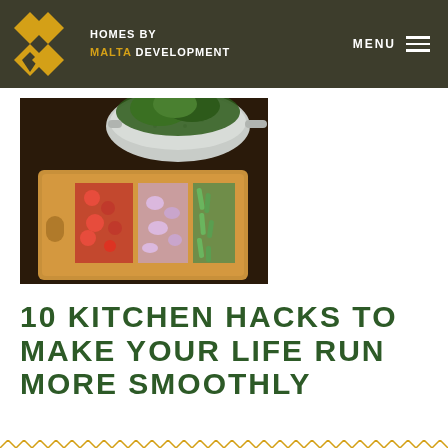HOMES BY MALTA DEVELOPMENT | MENU
[Figure (photo): Overhead view of chopped vegetables on a wooden cutting board — red peppers, onions, green beans — with a colander of leafy greens above]
10 KITCHEN HACKS TO MAKE YOUR LIFE RUN MORE SMOOTHLY